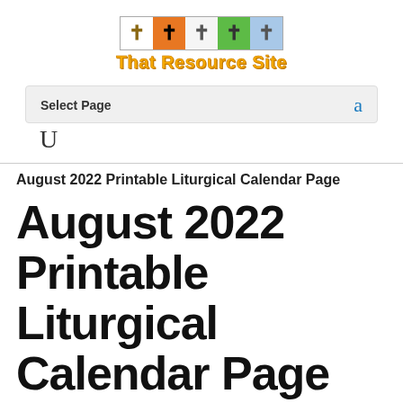[Figure (logo): ThatResourceSite logo with five colored cross symbols (white, orange, light gray, green, light blue) above the site name 'That Resource Site' in bold yellow/gold text]
Select Page   a
U
August 2022 Printable Liturgical Calendar Page
August 2022 Printable Liturgical Calendar Page